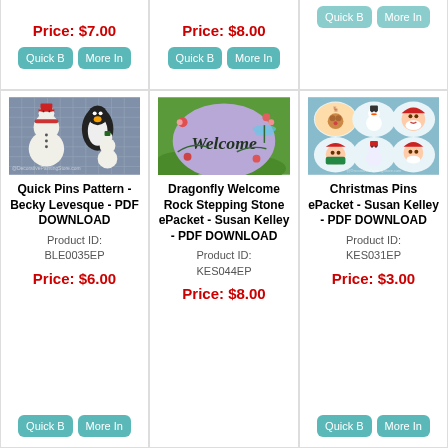Price: $7.00
Price: $8.00
[Figure (photo): Two snowmen and a penguin ornament figures on a grid background, watermarked DecorativePaintingStore.com]
Quick Pins Pattern - Becky Levesque - PDF DOWNLOAD
Product ID: BLE0035EP
Price: $6.00
[Figure (photo): A purple decorative stepping stone painted with Welcome and dragonfly and flowers on green grass background]
Dragonfly Welcome Rock Stepping Stone ePacket - Susan Kelley - PDF DOWNLOAD
Product ID: KES044EP
Price: $8.00
[Figure (photo): Six oval Christmas ornament pins showing reindeer, snowman, Santa, Mrs. Claus characters on blue/teal background]
Christmas Pins ePacket - Susan Kelley - PDF DOWNLOAD
Product ID: KES031EP
Price: $3.00